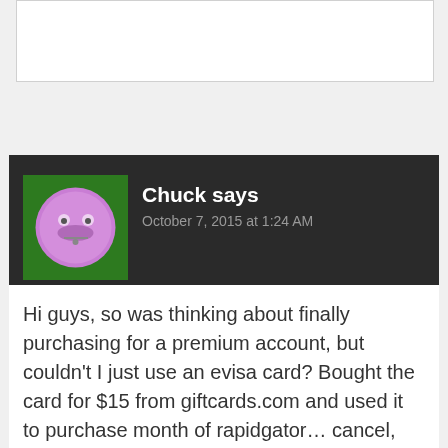[Figure (other): Top section with a white inner box on light gray background]
Chuck says
October 7, 2015 at 1:24 AM
Hi guys, so was thinking about finally purchasing for a premium account, but couldn't I just use an evisa card? Bought the card for $15 from giftcards.com and used it to purchase month of rapidgator… cancel, and even if they try to charge card, so what…. that should work wouldn't you think?
Thanks!